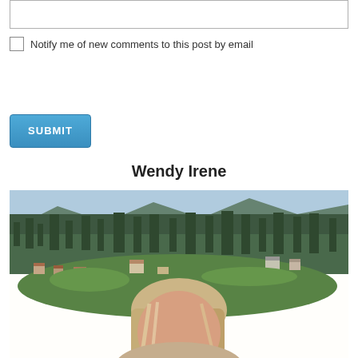[textarea input box]
Notify me of new comments to this post by email
SUBMIT
Wendy Irene
[Figure (photo): Outdoor selfie of a blonde woman with a forested valley and mountain backdrop on a sunny day]